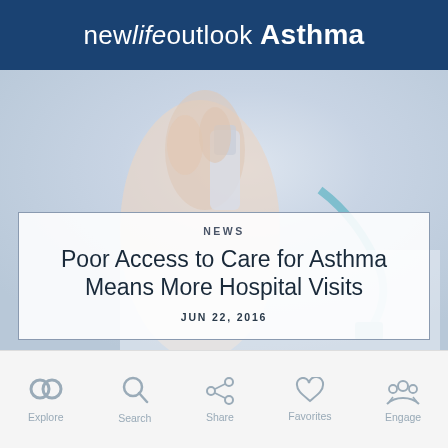new life outlook Asthma
[Figure (photo): Doctor or medical professional holding an inhaler, with a blue stethoscope visible. Image is faded/washed out to serve as a background for the article title overlay.]
NEWS
Poor Access to Care for Asthma Means More Hospital Visits
JUN 22, 2016
Explore  Search  Share  Favorites  Engage